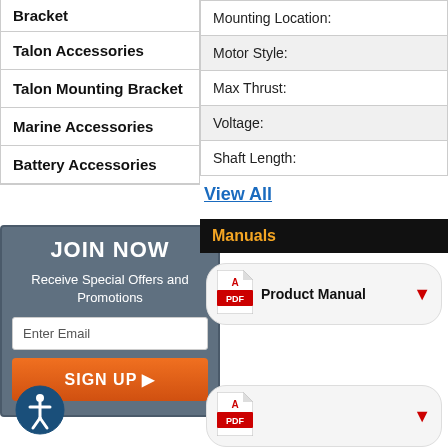Bracket
Talon Accessories
Talon Mounting Bracket
Marine Accessories
Battery Accessories
[Figure (infographic): JOIN NOW signup box with email input and orange SIGN UP button]
[Figure (illustration): Accessibility icon - person in circle]
| Mounting Location: |
| Motor Style: |
| Max Thrust: |
| Voltage: |
| Shaft Length: |
View All
Manuals
[Figure (illustration): PDF icon with Product Manual download button]
[Figure (illustration): PDF icon with second manual download button]